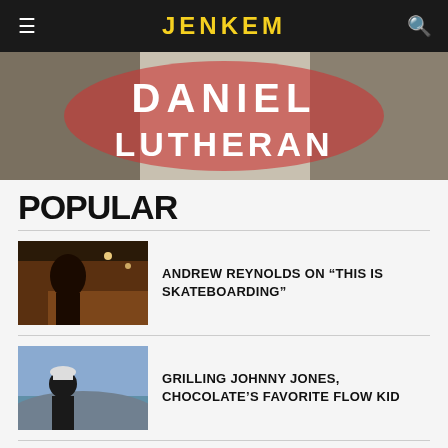JENKEM
[Figure (photo): Hero banner image showing 'DANIEL LUTHERAN' text in large decorative lettering with red/black styling]
POPULAR
[Figure (photo): Photo of a person smoking at night with street lights in background]
ANDREW REYNOLDS ON “THIS IS SKATEBOARDING”
[Figure (photo): Photo of a person wearing a white cap against a dusk/sunset sky background]
GRILLING JOHNNY JONES, CHOCOLATE’S FAVORITE FLOW KID
[Figure (photo): Photo showing a person with red hair near an All-Star sign]
THE MAKING OF “THIS IS SKATEBOARDING” WITH JON MINER